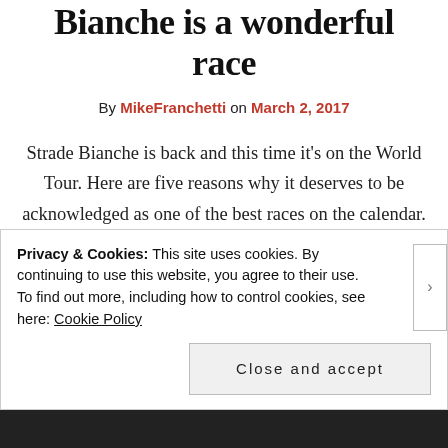Bianche is a wonderful race
By MikeFranchetti on March 2, 2017
Strade Bianche is back and this time it's on the World Tour. Here are five reasons why it deserves to be acknowledged as one of the best races on the calendar. 1. The white gravel roads, obviously. When the Colle Delle Finestre popped up in the 2005 Giro d'Italia we were given a taste of
Privacy & Cookies: This site uses cookies. By continuing to use this website, you agree to their use.
To find out more, including how to control cookies, see here: Cookie Policy

Close and accept